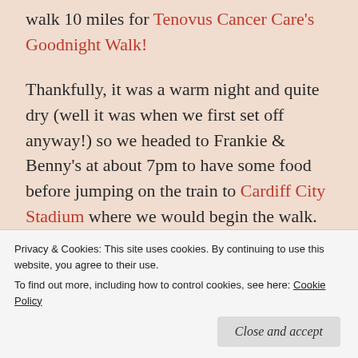walk 10 miles for Tenovus Cancer Care's Goodnight Walk!
Thankfully, it was a warm night and quite dry (well it was when we first set off anyway!) so we headed to Frankie & Benny's at about 7pm to have some food before jumping on the train to Cardiff City Stadium where we would begin the walk.
The place was absolutely buzzing! It was such a good atmosphere & there were so many different
Privacy & Cookies: This site uses cookies. By continuing to use this website, you agree to their use.
To find out more, including how to control cookies, see here: Cookie Policy